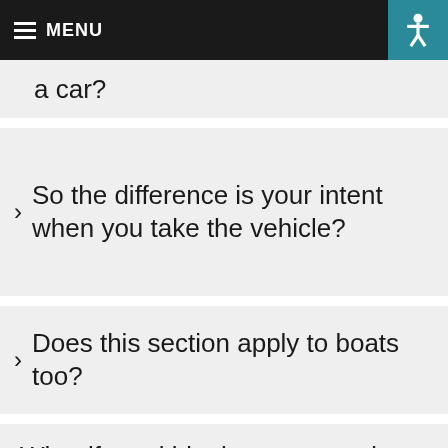MENU
a car?
So the difference is your intent when you take the vehicle?
Does this section apply to boats too?
What if one kid takes a car and another kid in the car doesn't know